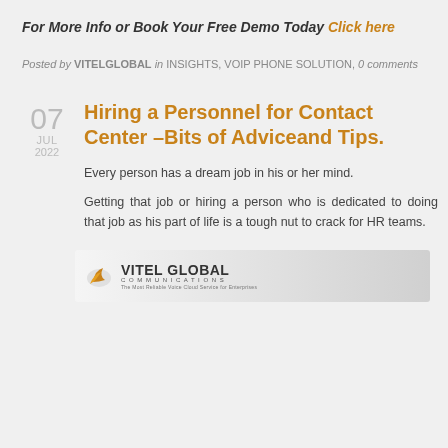For More Info or Book Your Free Demo Today Click here
Posted by VITELGLOBAL in INSIGHTS, VOIP PHONE SOLUTION, 0 comments
07 JUL 2022
Hiring a Personnel for Contact Center –Bits of Adviceand Tips.
Every person has a dream job in his or her mind.
Getting that job or hiring a person who is dedicated to doing that job as his part of life is a tough nut to crack for HR teams.
[Figure (logo): Vitel Global Communications logo with orange wing icon and company name]